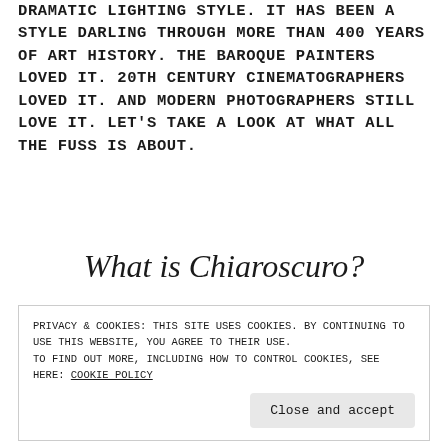DRAMATIC LIGHTING STYLE. IT HAS BEEN A STYLE DARLING THROUGH MORE THAN 400 YEARS OF ART HISTORY. THE BAROQUE PAINTERS LOVED IT. 20TH CENTURY CINEMATOGRAPHERS LOVED IT. AND MODERN PHOTOGRAPHERS STILL LOVE IT. LET'S TAKE A LOOK AT WHAT ALL THE FUSS IS ABOUT.
What is Chiaroscuro?
PRIVACY & COOKIES: THIS SITE USES COOKIES. BY CONTINUING TO USE THIS WEBSITE, YOU AGREE TO THEIR USE.
TO FIND OUT MORE, INCLUDING HOW TO CONTROL COOKIES, SEE HERE: COOKIE POLICY
Close and accept